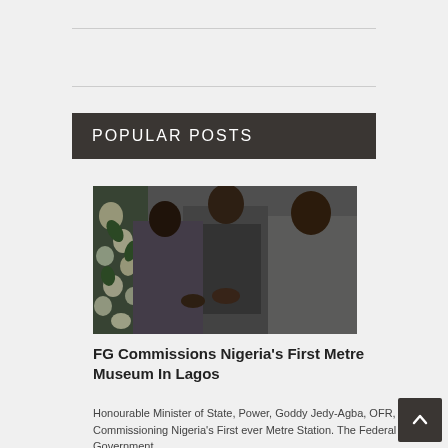POPULAR POSTS
[Figure (photo): Three men in formal attire at an event, one appears to be shaking hands or commissioning something, with flowers visible on the left side.]
FG Commissions Nigeria's First Metre Museum In Lagos
Honourable Minister of State, Power, Goddy Jedy-Agba, OFR, Commissioning Nigeria's First ever Metre Station. The Federal Government